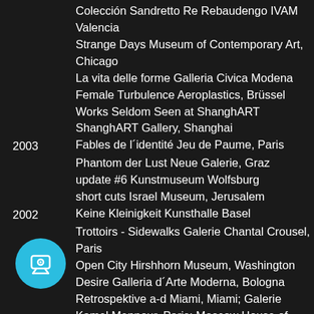Colección Sandretto Re Rebaudengo IVAM Valencia
Strange Days Museum of Contemporary Art, Chicago
La vita delle forme Galleria Civica Modena
Female Turbulence Aeroplastics, Brüssel
Works Seldom Seen at ShanghART ShanghART Gallery, Shanghai
2003  Fables de l´identité Jeu de Paume, Paris
Phantom der Lust Neue Galerie, Graz
update #6 Kunstmuseum Wolfsburg
short cuts Israel Museum, Jerusalem
2002  Keine Kleinigkeit Kunsthalle Basel
Trottoirs - Sidewalks Galerie Chantal Crousel, Paris
Open City Hirshhorn Museum, Washington
Desire Galleria d´Arte Moderna, Bologna
Retrospektive a-d Miami, Miami; Galerie Kamel Mennour, Paris; Moscow House of Photography, Moskau; Shine Gallery, London
20[01]  Kunsthalle Kiel; Ikon Gallery, London; Taka Ishii Gallery, Tokyo; Jablonka Galerie, Köln; Galerie Almine Rech, Paris
Contemporanea Photographies de rues De Pont...